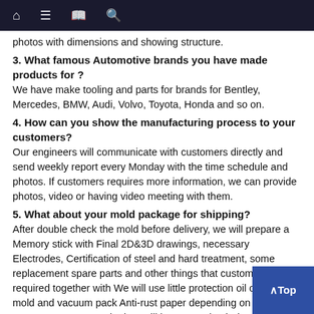Navigation bar with home, menu, notebook, and search icons
photos with dimensions and showing structure.
3. What famous Automotive brands you have made products for ?
We have make tooling and parts for brands for Bentley, Mercedes, BMW, Audi, Volvo, Toyota, Honda and so on.
4. How can you show the manufacturing process to your customers?
Our engineers will communicate with customers directly and send weekly report every Monday with the time schedule and photos. If customers requires more information, we can provide photos, video or having video meeting with them.
5. What about your mold package for shipping?
After double check the mold before delivery, we will prepare a Memory stick with Final 2D&3D drawings, necessary Electrodes, Certification of steel and hard treatment, some replacement spare parts and other things that customers required together with We will use little protection oil on the mold and vacuum pack Anti-rust paper depending on customer's request. The box will be Customized Plywood box.